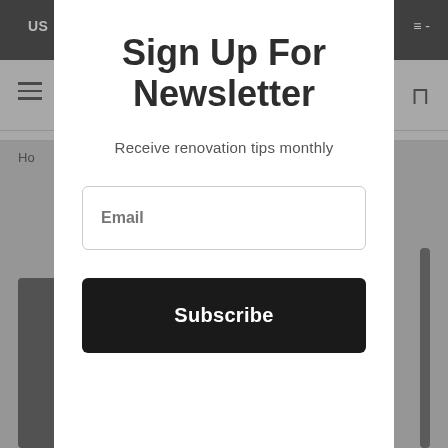US
Sign Up For Newsletter
Receive renovation tips monthly
Email
Subscribe